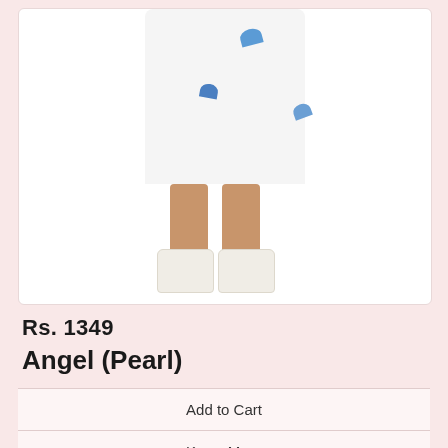[Figure (photo): A young girl wearing a white dress with blue shell/leaf embroidery prints, and white fuzzy boots. The photo is cropped showing the body from mid-torso down to the feet.]
Rs. 1349
Angel (Pearl)
Add to Cart
Know More